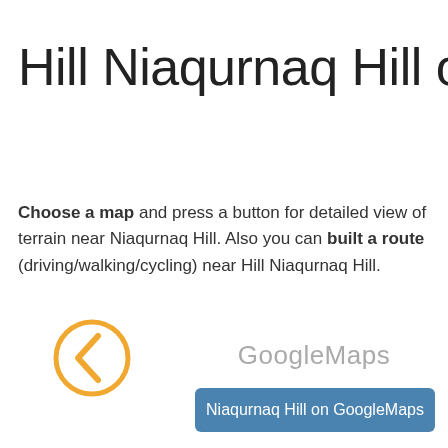Hill Niaqurnaq Hill on Map
Choose a map and press a button for detailed view of terrain near Niaqurnaq Hill. Also you can built a route (driving/walking/cycling) near Hill Niaqurnaq Hill.
[Figure (illustration): Left-pointing chevron arrow icon inside a circle with orange/yellow border]
GoogleMaps
Niaqurnaq Hill on GoogleMaps